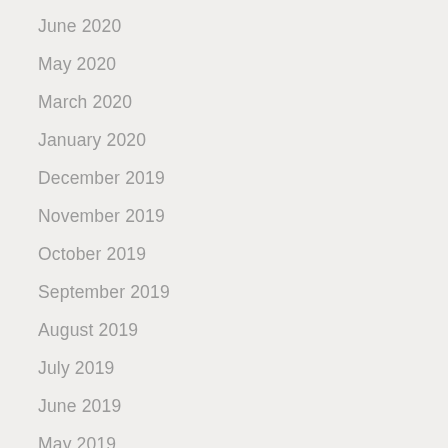June 2020
May 2020
March 2020
January 2020
December 2019
November 2019
October 2019
September 2019
August 2019
July 2019
June 2019
May 2019
April 2019
March 2019